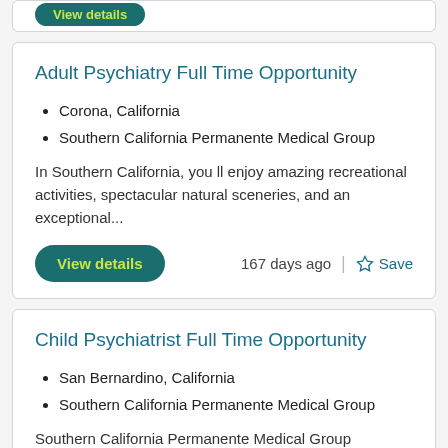[Figure (screenshot): Top card partial view with a teal 'View details' button visible at top]
Adult Psychiatry Full Time Opportunity
Corona, California
Southern California Permanente Medical Group
In Southern California, you ll enjoy amazing recreational activities, spectacular natural sceneries, and an exceptional...
View details
167 days ago
Save
Child Psychiatrist Full Time Opportunity
San Bernardino, California
Southern California Permanente Medical Group
Southern California Permanente Medical Group (SCPMG) is a physician-led partnership organization with a patient-...